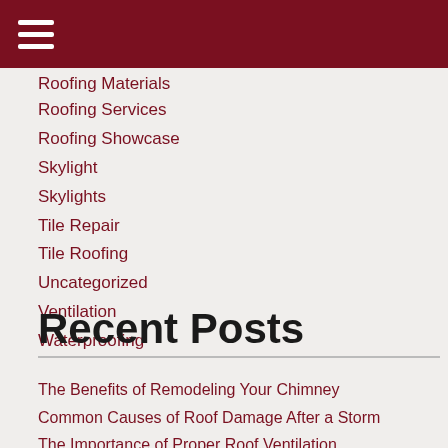≡
Roofing Materials
Roofing Services
Roofing Showcase
Skylight
Skylights
Tile Repair
Tile Roofing
Uncategorized
Ventilation
Waterproofing
Recent Posts
The Benefits of Remodeling Your Chimney
Common Causes of Roof Damage After a Storm
The Importance of Proper Roof Ventilation
Will a Skylight Brighten Your Space?
How to Maintain Your Concrete Roof Tiles?